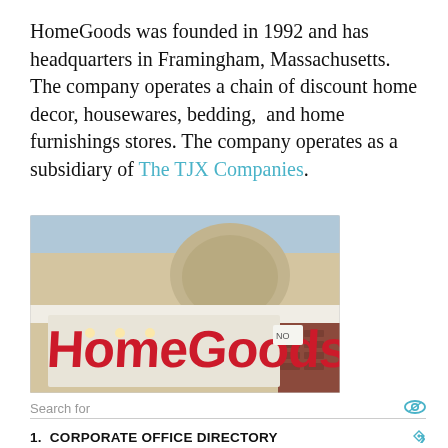HomeGoods was founded in 1992 and has headquarters in Framingham, Massachusetts. The company operates a chain of discount home decor, housewares, bedding,  and home furnishings stores. The company operates as a subsidiary of The TJX Companies.
[Figure (photo): Exterior photo of a HomeGoods store showing the large red 'HomeGoods' sign on a beige building facade with a decorative arch window above and brick column visible.]
Search for
1.  CORPORATE OFFICE DIRECTORY
2.  CORPORATE RESOLUTION FORM